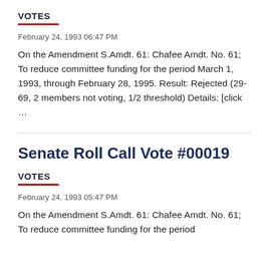VOTES
February 24, 1993 06:47 PM
On the Amendment S.Amdt. 61: Chafee Amdt. No. 61; To reduce committee funding for the period March 1, 1993, through February 28, 1995. Result: Rejected (29-69, 2 members not voting, 1/2 threshold) Details: [click …
Senate Roll Call Vote #00019
VOTES
February 24, 1993 05:47 PM
On the Amendment S.Amdt. 61: Chafee Amdt. No. 61; To reduce committee funding for the period